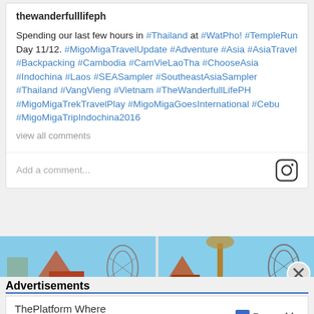thewanderfulllifeph
Spending our last few hours in #Thailand at #WatPho! #TempleRun Day 11/12. #MigoMigaTravelUpdate #Adventure #Asia #AsiaTravel #Backpacking #Cambodia #CamVieLaoTha #ChooseAsia #Indochina #Laos #SEASampler #SoutheastAsiaSampler #Thailand #VangVieng #Vietnam #TheWanderfullLifePH #MigoMigaTrekTravelPlay #MigoMigaGoesInternational #Cebu #MigoMigaTripIndochina2016
view all comments
Add a comment...
[Figure (photo): Two-panel photo strip showing Thai temple structures and a distinctive lattice-framed sculpture against a blue sky, appears to be taken at Wat Pho or nearby area in Bangkok, Thailand]
Advertisements
[Figure (screenshot): Pressable advertisement banner reading 'ThePlatform Where WordPress Works Best' with Pressable logo]